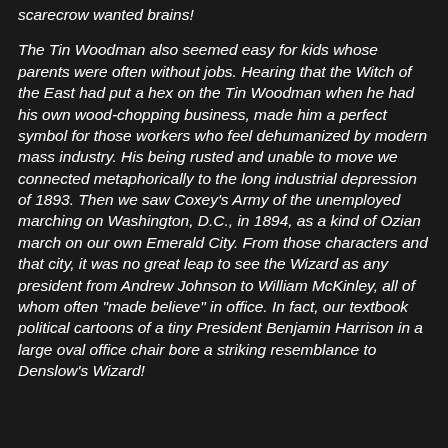scarecrow wanted brains!
The Tin Woodman also seemed easy for kids whose parents were often without jobs. Hearing that the Witch of the East had put a hex on the Tin Woodman when he had his own wood-chopping business, made him a perfect symbol for those workers who feel dehumanized by modern mass industry. His being rusted and unable to move we connected metaphorically to the long industrial depression of 1893. Then we saw Coxey's Army of the unemployed marching on Washington, D.C., in 1894, as a kind of Ozian march on our own Emerald City. From those characters and that city, it was no great leap to see the Wizard as any president from Andrew Johnson to William McKinley, all of whom often "made believe" in office. In fact, our textbook political cartoons of a tiny President Benjamin Harrison in a large oval office chair bore a striking resemblance to Denslow's Wizard!